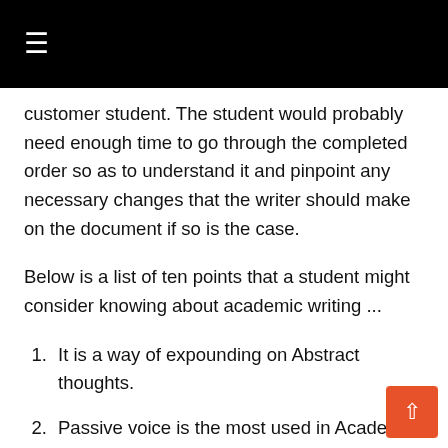≡
customer student. The student would probably need enough time to go through the completed order so as to understand it and pinpoint any necessary changes that the writer should make on the document if so is the case.
Below is a list of ten points that a student might consider knowing about academic writing ...
It is a way of expounding on Abstract thoughts.
Passive voice is the most used in Academic writing.
A reflective writing allows the use of Active experience (Active voice).